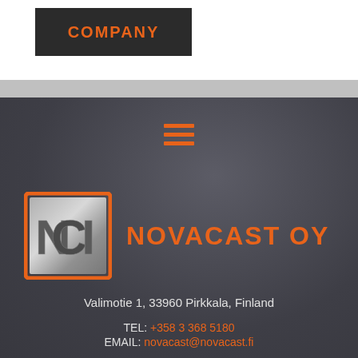COMPANY
[Figure (logo): Novacast OY logo: orange square border with silver metallic NCL letters inside, followed by orange text NOVACAST OY]
Valimotie 1, 33960 Pirkkala, Finland
TEL: +358 3 368 5180
EMAIL: novacast@novacast.fi